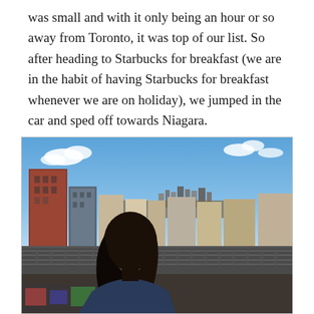was small and with it only being an hour or so away from Toronto, it was top of our list. So after heading to Starbucks for breakfast (we are in the habit of having Starbucks for breakfast whenever we are on holiday), we jumped in the car and sped off towards Niagara.
[Figure (photo): A person with long dark hair viewed from behind, looking out over a cityscape with buildings, a road/railway, and a blue sky with clouds. The city in the background appears to be Toronto.]